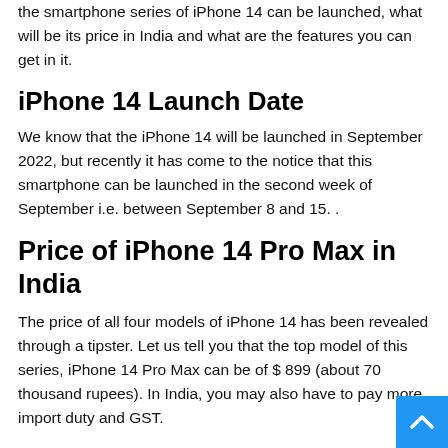the smartphone series of iPhone 14 can be launched, what will be its price in India and what are the features you can get in it.
iPhone 14 Launch Date
We know that the iPhone 14 will be launched in September 2022, but recently it has come to the notice that this smartphone can be launched in the second week of September i.e. between September 8 and 15. .
Price of iPhone 14 Pro Max in India
The price of all four models of iPhone 14 has been revealed through a tipster. Let us tell you that the top model of this series, iPhone 14 Pro Max can be of $ 899 (about 70 thousand rupees). In India, you may also have to pay more import duty and GST.